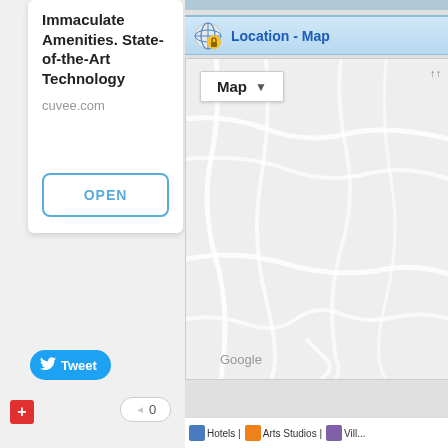Immaculate Amenities. State-of-the-Art Technology
cuvee.com
OPEN
Tweet
0
[Figure (map): Location - Map panel showing a Google Map with road outlines on a grey background, with a 'Map' dropdown control and Google branding.]
Hotels |
Arts Studios |
Vill...